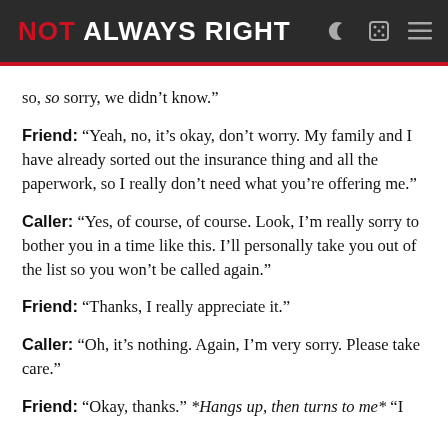NOT ALWAYS RIGHT
so, so sorry, we didn’t know.”
Friend: “Yeah, no, it’s okay, don’t worry. My family and I have already sorted out the insurance thing and all the paperwork, so I really don’t need what you’re offering me.”
Caller: “Yes, of course, of course. Look, I’m really sorry to bother you in a time like this. I’ll personally take you out of the list so you won’t be called again.”
Friend: “Thanks, I really appreciate it.”
Caller: “Oh, it’s nothing. Again, I’m very sorry. Please take care.”
Friend: “Okay, thanks.” *Hangs up, then turns to me* “I